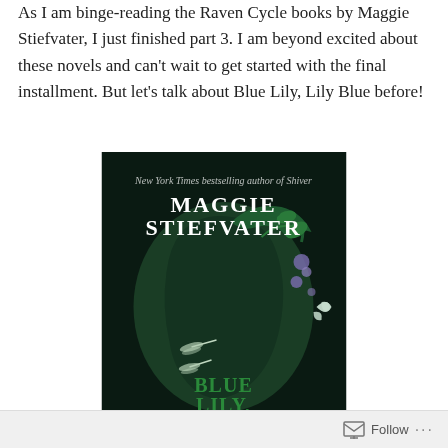As I am binge-reading the Raven Cycle books by Maggie Stiefvater, I just finished part 3. I am beyond excited about these novels and can't wait to get started with the final installment. But let's talk about Blue Lily, Lily Blue before!
[Figure (illustration): Book cover of 'Blue Lily, Lily Blue' by Maggie Stiefvater, showing a dark green illustrated silhouette of a face with vines and flowers, title text at top reads 'MAGGIE STIEFVATER' and at bottom 'BLUE LILY, LILY' with more text cut off]
Follow ...